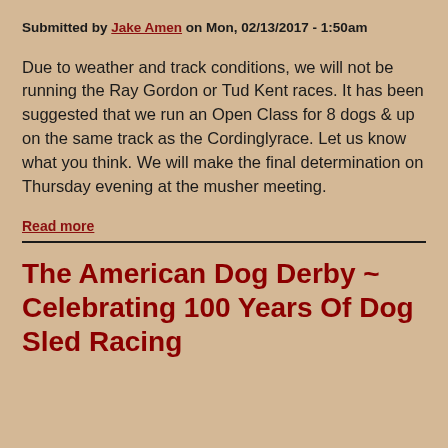Submitted by Jake Amen on Mon, 02/13/2017 - 1:50am
Due to weather and track conditions, we will not be running the Ray Gordon or Tud Kent races. It has been suggested that we run an Open Class for 8 dogs & up on the same track as the Cordinglyrace. Let us know what you think. We will make the final determination on Thursday evening at the musher meeting.
Read more
The American Dog Derby ~ Celebrating 100 Years Of Dog Sled Racing